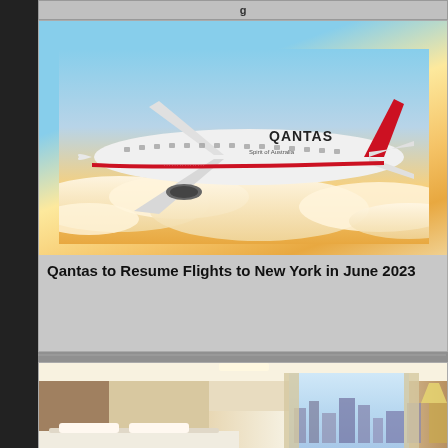[Figure (photo): Qantas Boeing 787 Dreamliner aircraft in flight above clouds with warm golden sky background. Red tail fin with kangaroo logo, white fuselage with QANTAS branding.]
Qantas to Resume Flights to New York in June 2023
[Figure (photo): Luxury hotel room interior with large window overlooking city skyline, warm lighting, beige tones, bed with white linens visible at bottom.]